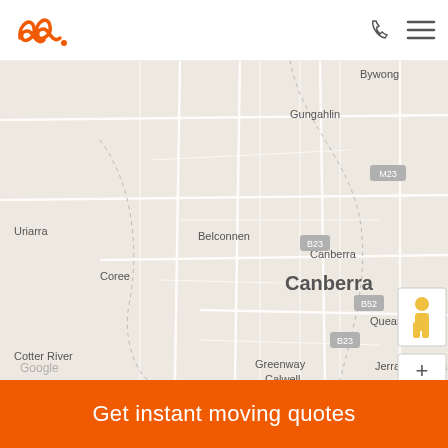[Figure (logo): Orange cursive logo with two loops and dot]
[Figure (map): Google Map centered on Canberra, Australia showing multiple orange location pin markers clustered around the Canberra metropolitan area. Place names visible include Bywong, Gungahlin, M23, Belconnen, Canberra, Uriarra, Coree, Queanbeyan, B52, B23, Jerrabomberra, Greenway, Calwell, Cotter River. Map controls include street view person icon, zoom in (+) and zoom out (-) buttons.]
Get instant moving quotes